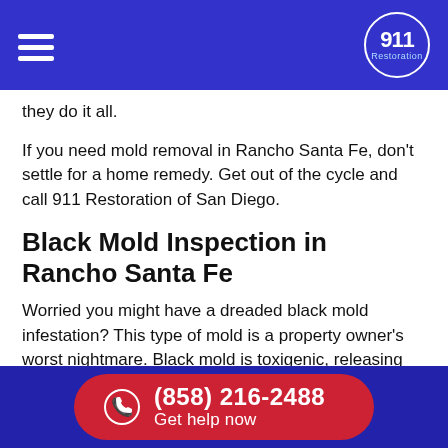911 Restoration — navigation header
they do it all.
If you need mold removal in Rancho Santa Fe, don't settle for a home remedy. Get out of the cycle and call 911 Restoration of San Diego.
Black Mold Inspection in Rancho Santa Fe
Worried you might have a dreaded black mold infestation? This type of mold is a property owner's worst nightmare. Black mold is toxigenic, releasing dangerous mycotoxins into the air and potentially creating a health hazard for anyone who occupies the space.
But how do you know if your infestation is black mold?
Most often, black mold takes on a black-green color and is slimy in appearance. However, this is not a hard-and-fast rule. If you suspect
(858) 216-2488 Get help now